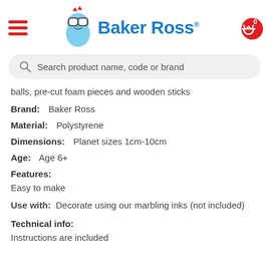[Figure (logo): Baker Ross logo with cartoon monster mascot and blue bold text]
Search product name, code or brand
balls, pre-cut foam pieces and wooden sticks
Brand:   Baker Ross
Material:   Polystyrene
Dimensions:   Planet sizes 1cm-10cm
Age:   Age 6+
Features:
Easy to make
Use with:   Decorate using our marbling inks (not included)
Technical info:
Instructions are included